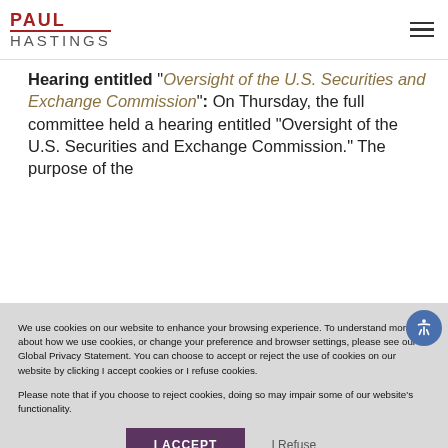PAUL HASTINGS
Hearing entitled “Oversight of the U.S. Securities and Exchange Commission”: On Thursday, the full committee held a hearing entitled “Oversight of the U.S. Securities and Exchange Commission.” The purpose of the
We use cookies on our website to enhance your browsing experience. To understand more about how we use cookies, or change your preference and browser settings, please see our Global Privacy Statement. You can choose to accept or reject the use of cookies on our website by clicking I accept cookies or I refuse cookies.

Please note that if you choose to reject cookies, doing so may impair some of our website’s functionality.
I ACCEPT   I Refuse